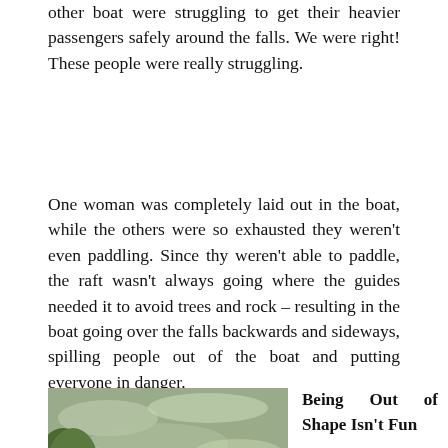other boat were struggling to get their heavier passengers safely around the falls. We were right! These people were really struggling.
One woman was completely laid out in the boat, while the others were so exhausted they weren't even paddling. Since thy weren't able to paddle, the raft wasn't always going where the guides needed it to avoid trees and rock – resulting in the boat going over the falls backwards and sideways, spilling people out of the boat and putting everyone in danger.
[Figure (photo): Photo of a group of people whitewater rafting in a yellow raft on turbulent river rapids, wearing red life jackets and helmets, paddling through white water with green trees visible on the left bank.]
Being Out of Shape Isn't Fun
Not only did it make it scary for them, it